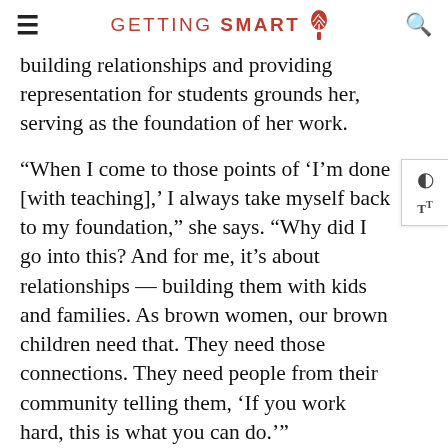GETTING SMART
building relationships and providing representation for students grounds her, serving as the foundation of her work.
“When I come to those points of ‘I’m done [with teaching],’ I always take myself back to my foundation,” she says. “Why did I go into this? And for me, it’s about relationships — building them with kids and families. As brown women, our brown children need that. They need those connections. They need people from their community telling them, ‘If you work hard, this is what you can do.’”
Being awarded Arizona’s 2020 Teacher of the Year underscored the importance of